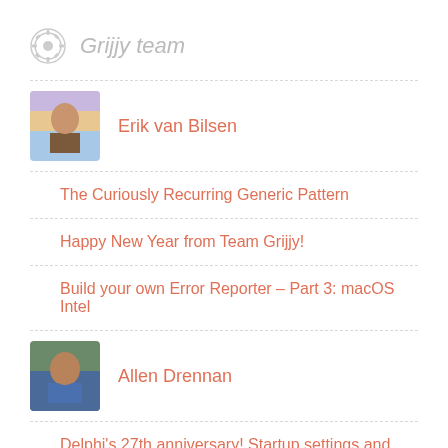Grijjy team
[Figure (photo): Profile photo of Erik van Bilsen, bald man against colorful sky background]
Erik van Bilsen
The Curiously Recurring Generic Pattern
Happy New Year from Team Grijjy!
Build your own Error Reporter – Part 3: macOS Intel
[Figure (photo): Profile photo of Allen Drennan, man in blue shirt outdoors]
Allen Drennan
Delphi's 27th anniversary! Startup settings and parameters revisited
Grijjy's 5th Anniversary!